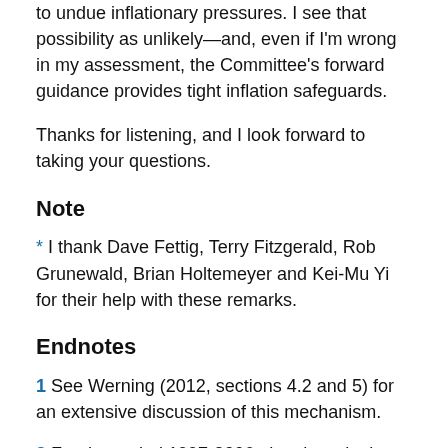to undue inflationary pressures. I see that possibility as unlikely—and, even if I'm wrong in my assessment, the Committee's forward guidance provides tight inflation safeguards.
Thanks for listening, and I look forward to taking your questions.
Note
* I thank Dave Fettig, Terry Fitzgerald, Rob Grunewald, Brian Holtemeyer and Kei-Mu Yi for their help with these remarks.
Endnotes
1 See Werning (2012, sections 4.2 and 5) for an extensive discussion of this mechanism.
2 For the period 1997-2006, the chart depicts the